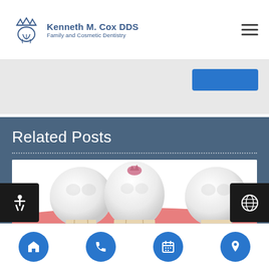[Figure (logo): Kenneth M. Cox DDS Family and Cosmetic Dentistry logo with crown and tooth icon]
[Figure (screenshot): Partially visible blue button in gray banner area]
Related Posts
[Figure (illustration): 3D illustration of three white teeth (molars) in gum tissue, with the middle tooth showing a pink cavity or crown marker on top]
[Figure (other): Bottom navigation bar with four blue circular icon buttons: home, phone, calendar, and location pin]
[Figure (other): Left floating accessibility button with wheelchair icon]
[Figure (other): Right floating language/globe button with globe icon]